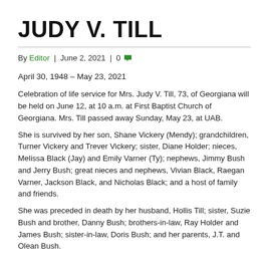JUDY V. TILL
By Editor | June 2, 2021 | 0
April 30, 1948 – May 23, 2021
Celebration of life service for Mrs. Judy V. Till, 73, of Georgiana will be held on June 12, at 10 a.m. at First Baptist Church of Georgiana. Mrs. Till passed away Sunday, May 23, at UAB.
She is survived by her son, Shane Vickery (Mendy); grandchildren, Turner Vickery and Trever Vickery; sister, Diane Holder; nieces, Melissa Black (Jay) and Emily Varner (Ty); nephews, Jimmy Bush and Jerry Bush; great nieces and nephews, Vivian Black, Raegan Varner, Jackson Black, and Nicholas Black; and a host of family and friends.
She was preceded in death by her husband, Hollis Till; sister, Suzie Bush and brother, Danny Bush; brothers-in-law, Ray Holder and James Bush; sister-in-law, Doris Bush; and her parents, J.T. and Olean Bush.